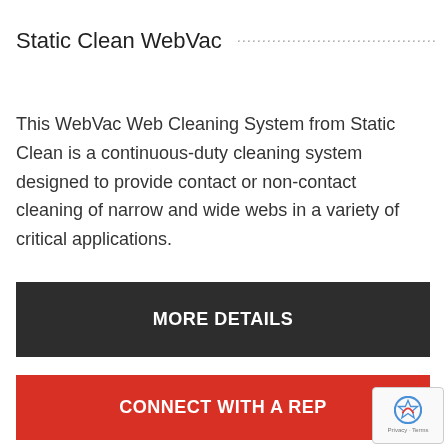Static Clean WebVac
This WebVac Web Cleaning System from Static Clean is a continuous-duty cleaning system designed to provide contact or non-contact cleaning of narrow and wide webs in a variety of critical applications.
MORE DETAILS
CONNECT WITH A REP